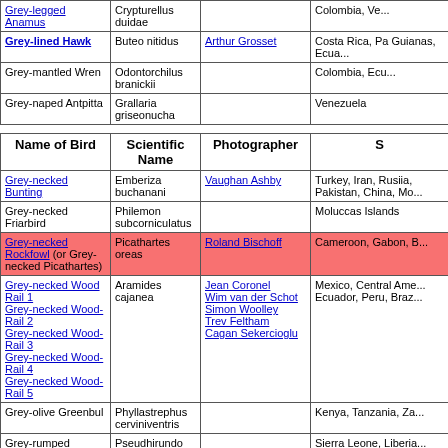| Name of Bird | Scientific Name | Photographer | S |
| --- | --- | --- | --- |
| Grey-legged Anamus (link) | Crypturellus duidae |  | Colombia, Ve... |
| Grey-lined Hawk (link) | Buteo nitidus | Arthur Grosset (link) | Costa Rica, Pa Guianas, Ecua... |
| Grey-mantled Wren | Odontorchilus branickii |  | Colombia, Ecu... |
| Grey-naped Antpitta | Grallaria griseonucha |  | Venezuela |
| Name of Bird | Scientific Name | Photographer | S |
| --- | --- | --- | --- |
| Grey-necked Bunting (link) | Emberiza buchanani | Vaughan Ashby (link) | Turkey, Iran, Rusiia, Pakistan, China, Mo... |
| Grey-necked Friarbird | Philemon subcorniculatus |  | Moluccas Islands |
| Grey-necked Rockfowl (or Grey-necked Picathartes) (link) | Picathartes oreas | Roland Bischoff (link) | Cameroon, Gabon, B... |
| Grey-necked Wood Rail 1, Grey-necked Wood-Rail 2, Grey-necked Wood-Rail 3, Grey-necked Wood-Rail 4, Grey-necked Wood-Rail 5 (links) | Aramides cajanea | Jean Coronel, Wim van der Schot, Simon Woolley, Trev Feltham, Cagan Sekercioglu (links) | Mexico, Central Ame..., Ecuador, Peru, Braz... |
| Grey-olive Greenbul | Phyllastrephus cerviniventris |  | Kenya, Tanzania, Za... |
| Grey-rumped Swallow | Pseudhirundo griseopyga |  | Sierra Leone, Liberia..., Zimbabwe, South Af... |
| Grey-rumped Swift | Chaetura cinereiventris |  | Lesser Antilles, Nica..., Trinidad, Tobago, Gu..., Argentina |
| Grey-rumped Swiftlet | Collocalia marginata |  | Philippines |
| Grey-rumped Treeswift 1, Grey-rumped Treeswift 2 (links) | Hemiprocne longipennis | Nick Bray, Laurence Poh (links) | Myanmar, Thailand,... |